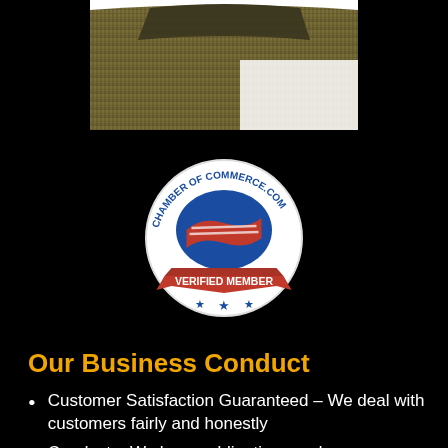[Figure (photo): Partial product photo showing what appears to be a woven or ribbed textile/industrial item with olive/khaki coloring, on a white background, cropped at top.]
[Figure (logo): Chamber of Commerce .com Verified Member badge — circular logo with blue and red stylized US map graphic, red ribbon banner reading VERIFIED MEMBER, three stars below.]
Our Business Conduct
Customer Satisfaction Guaranteed – We deal with customers fairly and honestly
Conduct – We honor obligations and commitments to customers